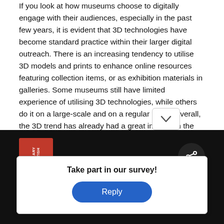If you look at how museums choose to digitally engage with their audiences, especially in the past few years, it is evident that 3D technologies have become standard practice within their larger digital outreach. There is an increasing tendency to utilise 3D models and prints to enhance online resources featuring collection items, or as exhibition materials in galleries. Some museums still have limited experience of utilising 3D technologies, while others do it on a large-scale and on a regular basis. Overall, the 3D trend has already had a great impact on the cultural heritage sector as a whole. However, while a museum is more of a usual suspect for these novel technologies, libraries are perhaps less so. They are perceived to hold books, manuscripts, documents, or in short – compilations of two-dimensional text. But nothing physical that a library holds is in fact two-dimensional, and some items kept in libraries may be of unanticipated nature. Libraries have more potential to engage with 3D modelling and printing than one would expect. In the following examples, move your mouse over the object to see the item in 3D.
[Figure (screenshot): Bottom bar with British Library logo on left, a survey popup in the center saying 'Take part in our survey!' with a blue Reply button, a share icon on the right, and a chevron/down arrow button above the popup.]